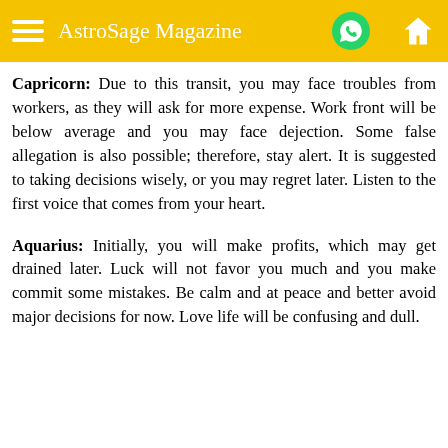AstroSage Magazine
Capricorn: Due to this transit, you may face troubles from workers, as they will ask for more expense. Work front will be below average and you may face dejection. Some false allegation is also possible; therefore, stay alert. It is suggested to taking decisions wisely, or you may regret later. Listen to the first voice that comes from your heart.
Aquarius: Initially, you will make profits, which may get drained later. Luck will not favor you much and you make commit some mistakes. Be calm and at peace and better avoid major decisions for now. Love life will be confusing and dull.